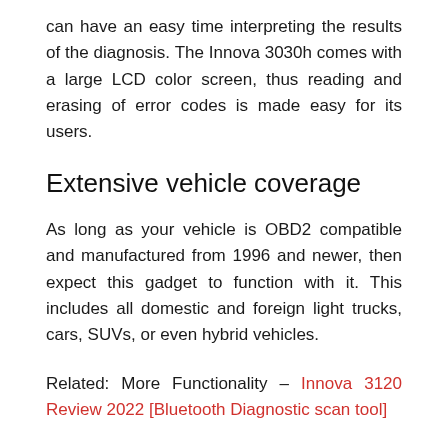can have an easy time interpreting the results of the diagnosis. The Innova 3030h comes with a large LCD color screen, thus reading and erasing of error codes is made easy for its users.
Extensive vehicle coverage
As long as your vehicle is OBD2 compatible and manufactured from 1996 and newer, then expect this gadget to function with it. This includes all domestic and foreign light trucks, cars, SUVs, or even hybrid vehicles.
Related: More Functionality – Innova 3120 Review 2022 [Bluetooth Diagnostic scan tool]
Wide range of functions